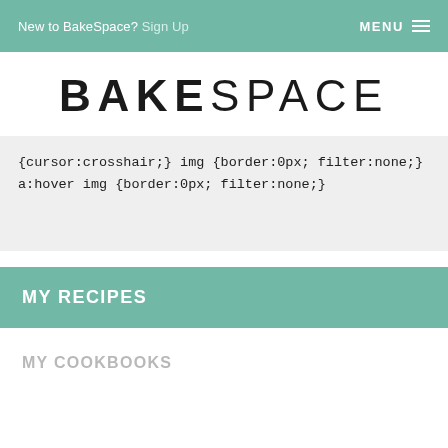New to BakeSpace? Sign Up  MENU
BAKESPACE
{cursor:crosshair;} img {border:0px; filter:none;} a:hover img {border:0px; filter:none;}
MY RECIPES
MY COOKBOOKS